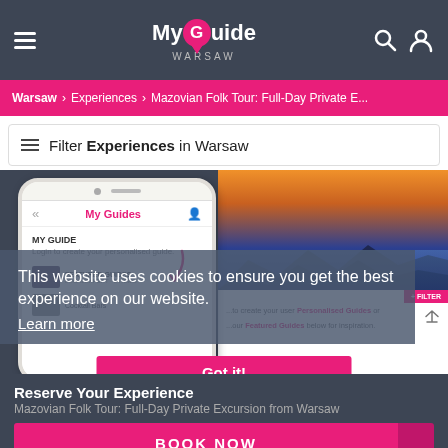My Guide WARSAW
Warsaw > Experiences > Mazovian Folk Tour: Full-Day Private E...
Filter Experiences in Warsaw
[Figure (screenshot): Screenshot of My Guide app showing phone and tablet mockup with My Guides panel, a landscape sunset photo, and cookie consent overlay reading: This website uses cookies to ensure you get the best experience on our website. Learn more. Got it!]
Reserve Your Experience
Mazovian Folk Tour: Full-Day Private Excursion from Warsaw
BOOK NOW